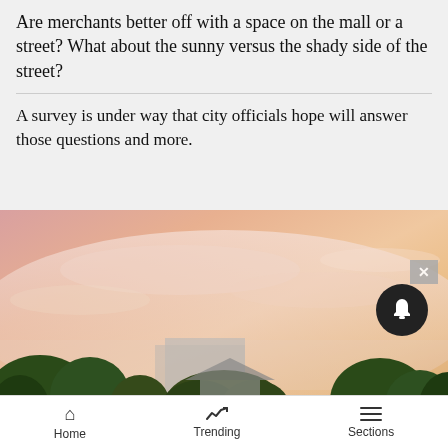Are merchants better off with a space on the mall or a street? What about the sunny versus the shady side of the street?
A survey is under way that city officials hope will answer those questions and more.
[Figure (photo): Outdoor scene at sunset/dusk showing silhouettes of trees and rooftops of houses against a pink and orange sky with wispy clouds.]
Home | Trending | Sections